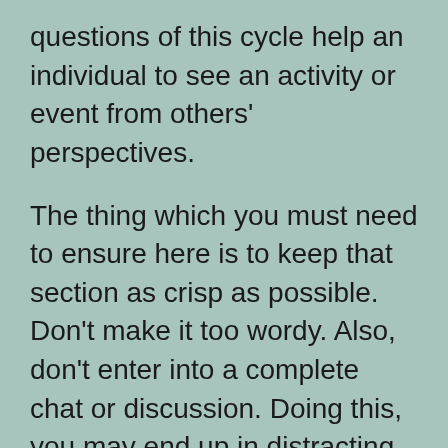questions of this cycle help an individual to see an activity or event from others' perspectives.
The thing which you must need to ensure here is to keep that section as crisp as possible. Don't make it too wordy. Also, don't enter into a complete chat or discussion. Doing this, you may end up in distracting your readers and even yourself from the main plot. In case this point is still not clear, visit experts at AllAssignmentHelp.co.uk. With their assistance, you can understand the right way to analyse feelings and emotions.